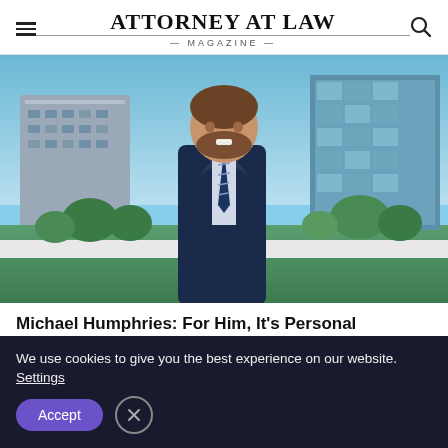ATTORNEY AT LAW MAGAZINE
[Figure (photo): Professional headshot of Michael Humphries, a man in a dark navy suit and striped tie, standing outdoors with city buildings and trees in the background under a blue sky.]
Michael Humphries: For Him, It’s Personal
We use cookies to give you the best experience on our website. Settings
Accept